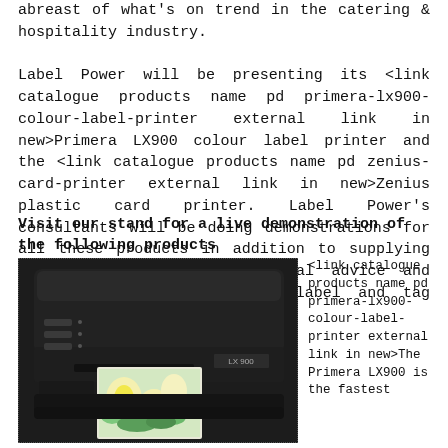abreast of what's on trend in the catering & hospitality industry.

Label Power will be presenting its <link catalogue products name pd primera-lx900-colour-label-printer external link in new>Primera LX900 colour label printer and the <link catalogue products name pd zenius-card-printer external link in new>Zenius plastic card printer. Label Power's consultants will be doing demonstrations for all these products in addition to supplying samples, providing professional advice and taking enquiries for trade label and tag printing.
Visit our stand for a live demonstration of the following products
[Figure (photo): Photo of a black Primera LX900 colour label printer with a floral label emerging from the output slot, shown against a white background inside a dotted border.]
<link catalogue products name pd primera-lx900-colour-label-printer external link in new>The Primera LX900 is the fastest